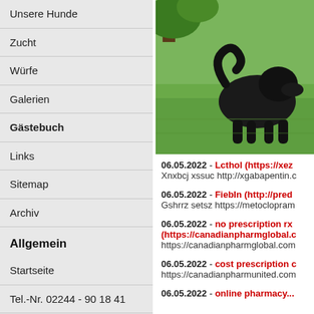Unsere Hunde
Zucht
Würfe
Galerien
Gästebuch
Links
Sitemap
Archiv
Allgemein
Startseite
Tel.-Nr. 02244 - 90 18 41
Kontakt
So finden Sie uns...
Impressum
[Figure (photo): Black dog on green grass outdoors]
06.05.2022 - Lcthol (https://xez... Xnxbcj xssuc http://xgabapentin.c
06.05.2022 - FiebIn (http://pred... Gshrrz setsz https://metoclopram
06.05.2022 - no prescription rx (https://canadianpharmglobal.c... https://canadianpharmglobal.com
06.05.2022 - cost prescription c... https://canadianpharmunited.com
06.05.2022 - online pharmacy...